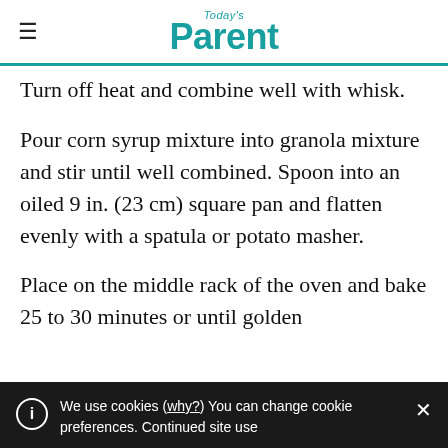Today's Parent
Turn off heat and combine well with whisk.
Pour corn syrup mixture into granola mixture and stir until well combined. Spoon into an oiled 9 in. (23 cm) square pan and flatten evenly with a spatula or potato masher.
Place on the middle rack of the oven and bake 25 to 30 minutes or until golden
We use cookies (why?) You can change cookie preferences. Continued site use